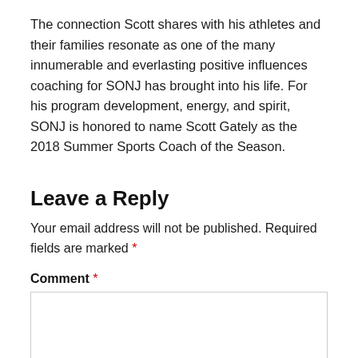The connection Scott shares with his athletes and their families resonate as one of the many innumerable and everlasting positive influences coaching for SONJ has brought into his life. For his program development, energy, and spirit, SONJ is honored to name Scott Gately as the 2018 Summer Sports Coach of the Season.
Leave a Reply
Your email address will not be published. Required fields are marked *
Comment *